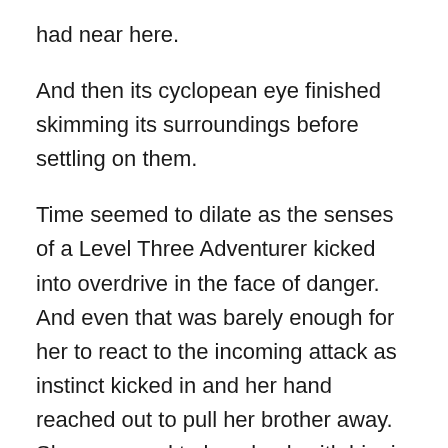had near here.
And then its cyclopean eye finished skimming its surroundings before settling on them.
Time seemed to dilate as the senses of a Level Three Adventurer kicked into overdrive in the face of danger. And even that was barely enough for her to react to the incoming attack as instinct kicked in and her hand reached out to pull her brother away. She managed to leap back with him in her tow as far as her legs could carry her in a single bound as the pair of sinuous, massive whips came crashing down.
The entire chamber rumbled as the acid splashed up to nearly three-fourths the height of the chamber, scattering broken bones and abandoned armaments. She felt the